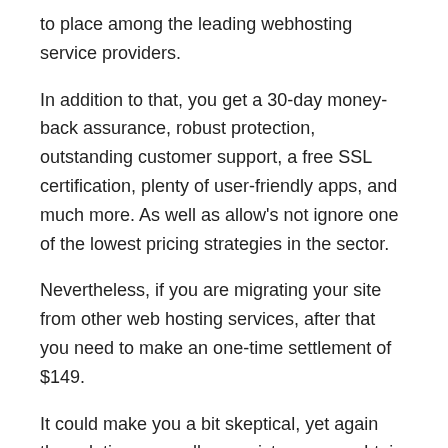to place among the leading webhosting service providers.
In addition to that, you get a 30-day money-back assurance, robust protection, outstanding customer support, a free SSL certification, plenty of user-friendly apps, and much more. As well as allow's not ignore one of the lowest pricing strategies in the sector.
Nevertheless, if you are migrating your site from other web hosting services, after that you need to make an one-time settlement of $149.
It could make you a bit skeptical, yet again the solutions as well as assistance you obtain for the amount deserve it in the long run.
Generally, Bluehost provides among the best web hosting alternatives on the marketplace as well as obtains my full recommendation.